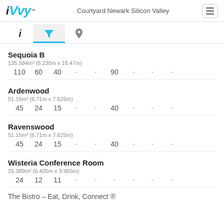iVvy™  Courtyard Newark Silicon Valley
Sequoia B
135.594m² (8.235m x 16.47m)
110  60  40  -  -  90  -  -  -
Ardenwood
51.15m² (6.71m x 7.625m)
45  24  15  -  -  40  -  -  -
Ravenswood
51.15m² (6.71m x 7.625m)
45  24  15  -  -  40  -  -  -
Wisteria Conference Room
25.389m² (6.405m x 3.965m)
24  12  11  -  -  -  -  -  -
The Bistro – Eat, Drink, Connect ®